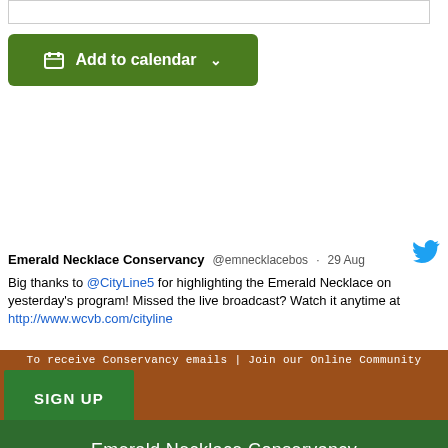[Figure (screenshot): Input box outline at top of page]
[Figure (screenshot): Green 'Add to calendar' button with calendar icon and dropdown arrow]
Emerald Necklace Conservancy @emnecklacebos · 29 Aug
Big thanks to @CityLine5 for highlighting the Emerald Necklace on yesterday's program! Missed the live broadcast? Watch it anytime at http://www.wcvb.com/cityline
To receive Conservancy emails | Join our Online Community
SIGN UP
Emerald Necklace Conservancy